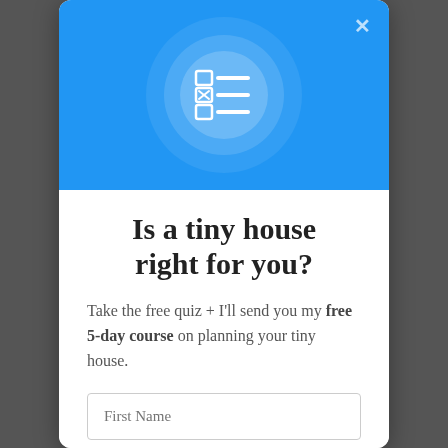[Figure (screenshot): Modal popup with blue header containing a checklist/quiz icon (three rows of checkbox and line items) inside a circle, and a close (×) button in the top right corner.]
Is a tiny house right for you?
Take the free quiz + I'll send you my free 5-day course on planning your tiny house.